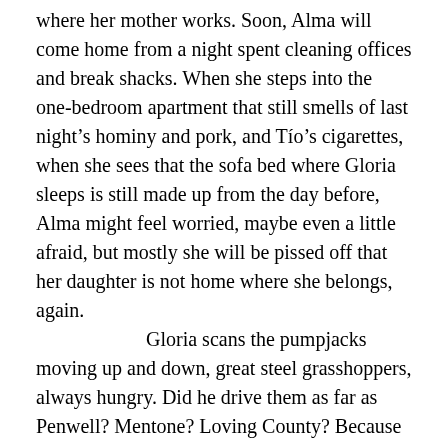where her mother works. Soon, Alma will come home from a night spent cleaning offices and break shacks. When she steps into the one-bedroom apartment that still smells of last night's hominy and pork, and Tío's cigarettes, when she sees that the sofa bed where Gloria sleeps is still made up from the day before, Alma might feel worried, maybe even a little afraid, but mostly she will be pissed off that her daughter is not home where she belongs, again.
	Gloria scans the pumpjacks moving up and down, great steel grasshoppers, always hungry. Did he drive them as far as Penwell? Mentone? Loving County? Because the Permian Basin is eighty thousand square miles of the same old, same old, and she could be anywhere, and the only true things are her thirst and pain, and the roughneck's occasional sighs, his teeth grinding and body shifting, the click and hum of the pumpjack just a few yards away from where she sits.
	When a bobwhite begins to call its own name, the sound gently pries the morning open. Gloria looks again at the farmhouse. A dirt road slices the desert in half, a straight line